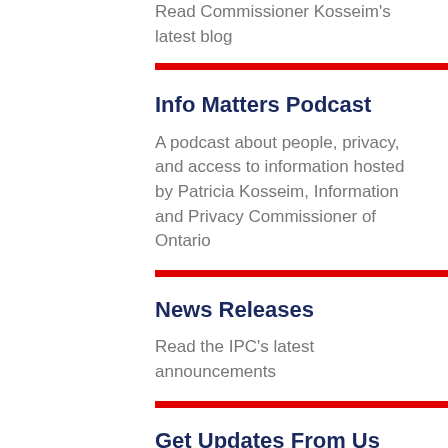Read Commissioner Kosseim's latest blog
Info Matters Podcast
A podcast about people, privacy, and access to information hosted by Patricia Kosseim, Information and Privacy Commissioner of Ontario
News Releases
Read the IPC's latest announcements
Get Updates From Us
Subscribe to get the latest updates from the IPC.